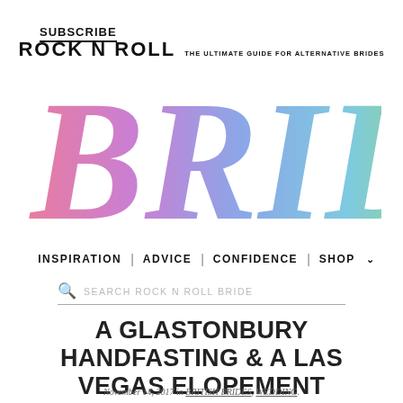SUBSCRIBE
[Figure (logo): Rock N Roll Bride magazine logo with rainbow gradient BRIDE text and tagline 'THE ULTIMATE GUIDE FOR ALTERNATIVE BRIDES']
INSPIRATION | ADVICE | CONFIDENCE | SHOP
SEARCH ROCK N ROLL BRIDE
A GLASTONBURY HANDFASTING & A LAS VEGAS ELOPEMENT
November 14, 2017 in BRITISH BRIDES, WEDDING.